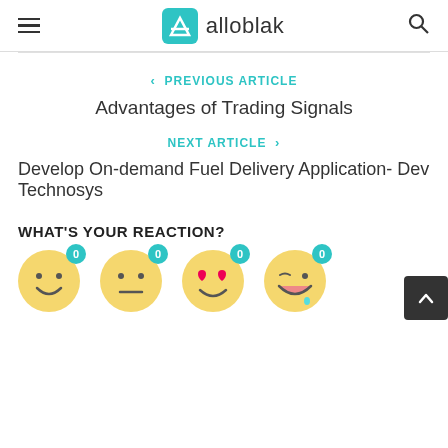alloblak
PREVIOUS ARTICLE
Advantages of Trading Signals
NEXT ARTICLE
Develop On-demand Fuel Delivery Application- Dev Technosys
WHAT'S YOUR REACTION?
[Figure (infographic): Four emoji reaction buttons each with a teal badge showing count 0: smiley face, neutral face, heart-eyes face, laughing/drooling face]